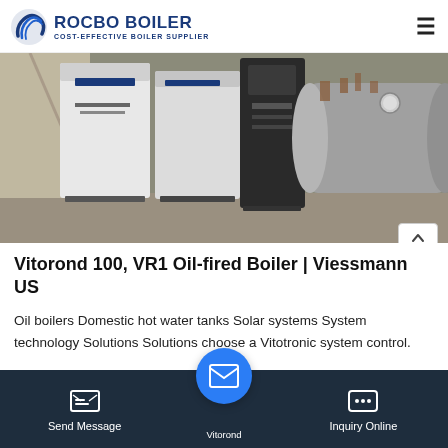ROCBO BOILER — COST-EFFECTIVE BOILER SUPPLIER
[Figure (photo): Industrial boilers in a warehouse setting — tall white and dark-colored vertical boiler units on the left, large cylindrical horizontal boiler tank on the right, concrete floor visible]
Vitorond 100, VR1 Oil-fired Boiler | Viessmann US
Oil boilers Domestic hot water tanks Solar systems System technology Solutions Solutions choose a Vitotronic system control.
Send Message | Vitorond | Inquiry Online